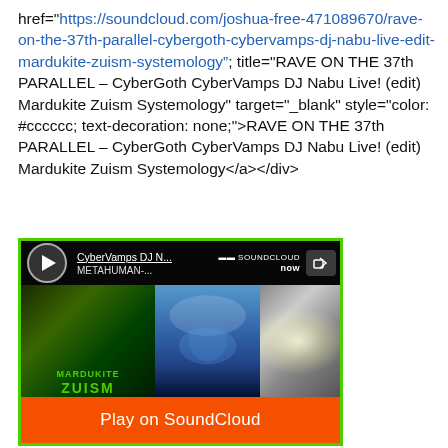href="https://soundcloud.com/joshua-free-471089670/rave-on-the-37th-parallel-cybergoth-cybervamps-dj-nabu-live-edit-mardukite-zuism-systemology&#8221; title="RAVE ON THE 37th PARALLEL – CyberGoth CyberVamps DJ Nabu Live! (edit) Mardukite Zuism Systemology" target="_blank" style="color: #cccccc; text-decoration: none;">RAVE ON THE 37th PARALLEL – CyberGoth CyberVamps DJ Nabu Live! (edit) Mardukite Zuism Systemology</a></div>
[Figure (screenshot): SoundCloud embedded player widget showing 'CyberVamps DJ N...' track by METAHUMAN- with a green border. Shows play button, track info, SoundCloud logo, share button, album art with blue and green tones and MARDUKITE ZUISM text, and an orange 'Play on SoundCloud' button at the bottom.]